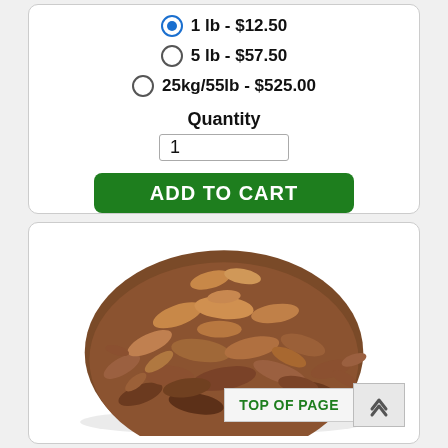1 lb - $12.50 (selected)
5 lb - $57.50
25kg/55lb - $525.00
Quantity
[Figure (photo): A pile of dried cacao nibs/shells, brown colored chips heaped in a mound on a white background]
TOP OF PAGE